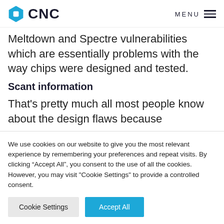CNC — MENU
Meltdown and Spectre vulnerabilities which are essentially problems with the way chips were designed and tested.
Scant information
That's pretty much all most people know about the design flaws because
We use cookies on our website to give you the most relevant experience by remembering your preferences and repeat visits. By clicking "Accept All", you consent to the use of all the cookies. However, you may visit "Cookie Settings" to provide a controlled consent.